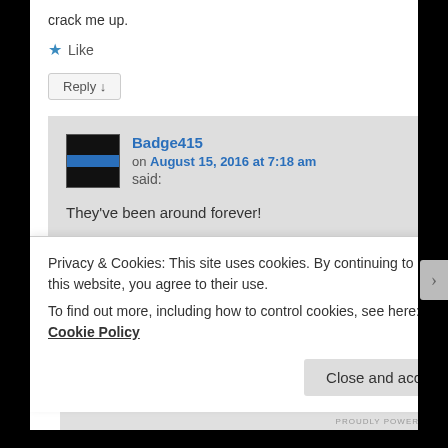crack me up.
★ Like
Reply ↓
Badge415
on August 15, 2016 at 7:18 am
said:
They've been around forever!
★ Liked by 1 person
Privacy & Cookies: This site uses cookies. By continuing to use this website, you agree to their use.
To find out more, including how to control cookies, see here: Cookie Policy
Close and accept